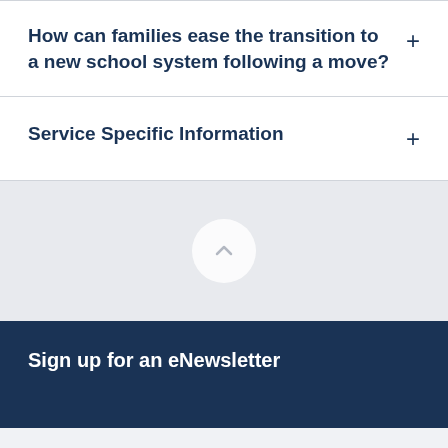How can families ease the transition to a new school system following a move?
Service Specific Information
[Figure (other): Scroll-to-top circular button with upward chevron arrow]
Sign up for an eNewsletter